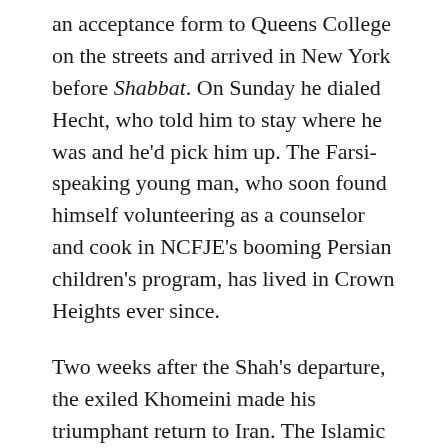an acceptance form to Queens College on the streets and arrived in New York before Shabbat. On Sunday he dialed Hecht, who told him to stay where he was and he'd pick him up. The Farsi-speaking young man, who soon found himself volunteering as a counselor and cook in NCFJE's booming Persian children's program, has lived in Crown Heights ever since.
Two weeks after the Shah's departure, the exiled Khomeini made his triumphant return to Iran. The Islamic revolution in full force, there was no turning back.
Murder and Panic in the Streets
The mood in the Iranian Jewish community was tense.